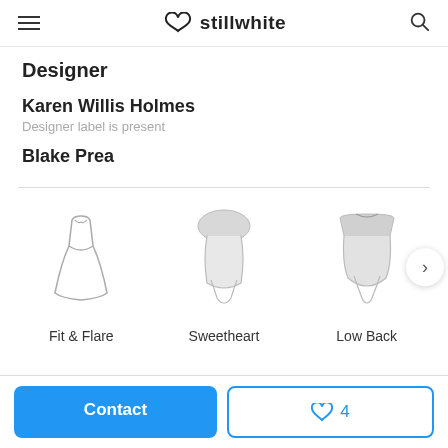stillwhite
Designer
Karen Willis Holmes
Designer label is present
Blake Prea
[Figure (illustration): Three wedding dress style icons: Fit & Flare (outline dress), Sweetheart (bodice with sweetheart neckline, shaded), Low Back (backless bodice, shaded). A right-arrow navigation button is partially visible on the right.]
Fit & Flare   Sweetheart   Low Back
Contact   ♡ 4